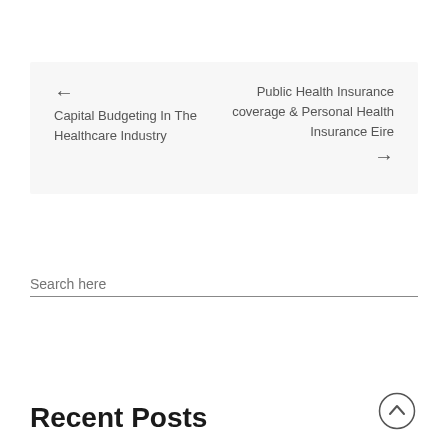← Capital Budgeting In The Healthcare Industry
Public Health Insurance coverage & Personal Health Insurance Eire →
Search here
Recent Posts